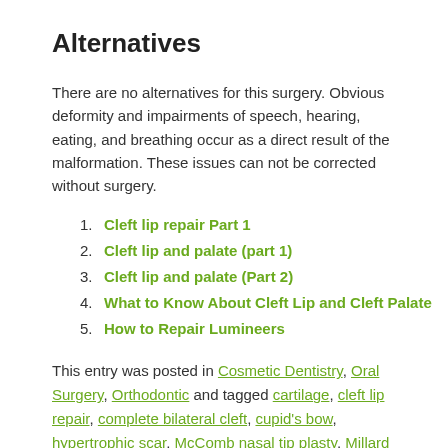Alternatives
There are no alternatives for this surgery. Obvious deformity and impairments of speech, hearing, eating, and breathing occur as a direct result of the malformation. These issues can not be corrected without surgery.
Cleft lip repair Part 1
Cleft lip and palate (part 1)
Cleft lip and palate (Part 2)
What to Know About Cleft Lip and Cleft Palate
How to Repair Lumineers
This entry was posted in Cosmetic Dentistry, Oral Surgery, Orthodontic and tagged cartilage, cleft lip repair, complete bilateral cleft, cupid's bow, hypertrophic scar, McComb nasal tip plasty, Millard rotation advancement, myringotomy, nasal